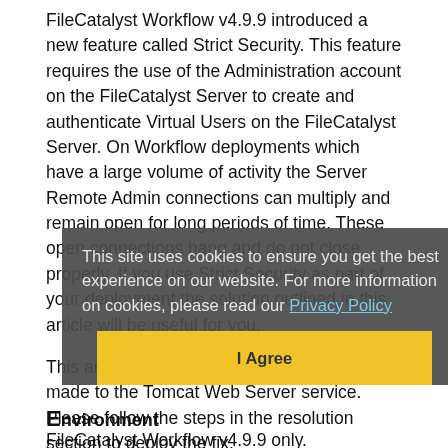FileCatalyst Workflow v4.9.9 introduced a new feature called Strict Security. This feature requires the use of the Administration account on the FileCatalyst Server to create and authenticate Virtual Users on the FileCatalyst Server. On Workflow deployments which have a large volume of activity the Server Remote Admin connections can multiply and remain open for long periods of time. These open connections hang and do not close properly. If you use Strict Security as part of your deployment the solution outlined in this article will be useful for you.
[Figure (other): Cookie consent overlay with text: 'This site uses cookies to ensure you get the best experience on our website. For more information on cookies, please read our Privacy Policy' and an 'I Agree' button]
This article contains modifications that can be made to the Tomcat Web Server service. Please follow the steps in the resolution section to deploy the fix.
Environment
FileCatalyst Workflow v4.9.9 only.
FileCatalyst Server v3.7 only.